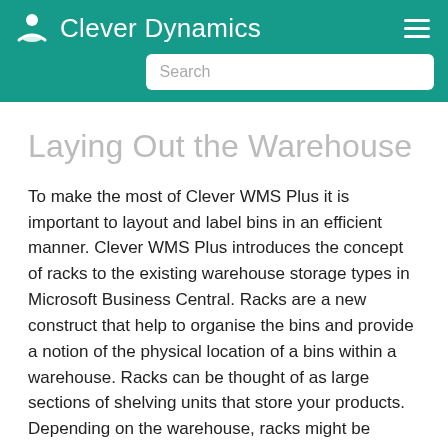Clever Dynamics
Laying Out the Warehouse
To make the most of Clever WMS Plus it is important to layout and label bins in an efficient manner. Clever WMS Plus introduces the concept of racks to the existing warehouse storage types in Microsoft Business Central. Racks are a new construct that help to organise the bins and provide a notion of the physical location of a bins within a warehouse. Racks can be thought of as large sections of shelving units that store your products. Depending on the warehouse, racks might be considered as an entire shelving unit spanning one side of an aisle or as small sections within a long until of